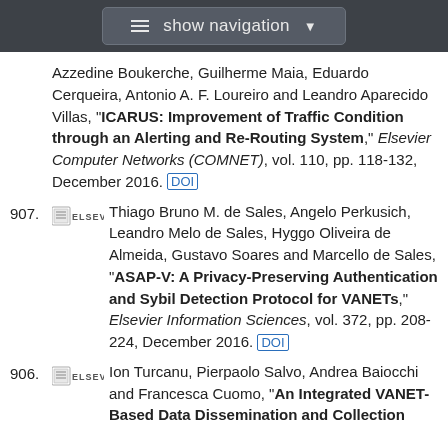show navigation
Azzedine Boukerche, Guilherme Maia, Eduardo Cerqueira, Antonio A. F. Loureiro and Leandro Aparecido Villas, "ICARUS: Improvement of Traffic Condition through an Alerting and Re-Routing System," Elsevier Computer Networks (COMNET), vol. 110, pp. 118-132, December 2016. [DOI]
907. Thiago Bruno M. de Sales, Angelo Perkusich, Leandro Melo de Sales, Hyggo Oliveira de Almeida, Gustavo Soares and Marcello de Sales, "ASAP-V: A Privacy-Preserving Authentication and Sybil Detection Protocol for VANETs," Elsevier Information Sciences, vol. 372, pp. 208-224, December 2016. [DOI]
906. Ion Turcanu, Pierpaolo Salvo, Andrea Baiocchi and Francesca Cuomo, "An Integrated VANET-Based Data Dissemination and Collection Protocol for Cooperative Urban Sensing," Elsevier...